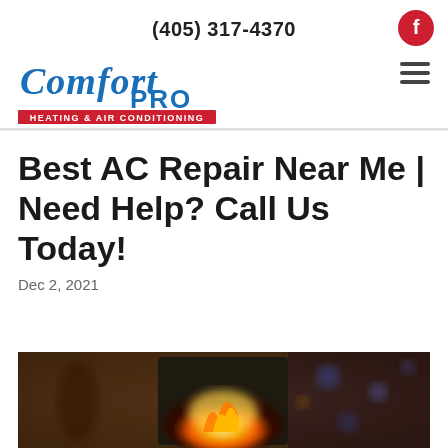(405) 317-4370
[Figure (logo): Comfort Pro Heating & Air Conditioning logo in blue and red]
Best AC Repair Near Me | Need Help? Call Us Today!
Dec 2, 2021
[Figure (photo): Blurred photo of a fireplace with flames visible and bokeh lights in background]